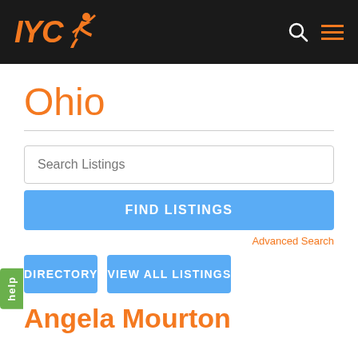[Figure (logo): IYCA logo in orange italic bold text with a running figure silhouette, on dark background header with search and menu icons]
Ohio
Search Listings
FIND LISTINGS
Advanced Search
DIRECTORY
VIEW ALL LISTINGS
Angela Mourton